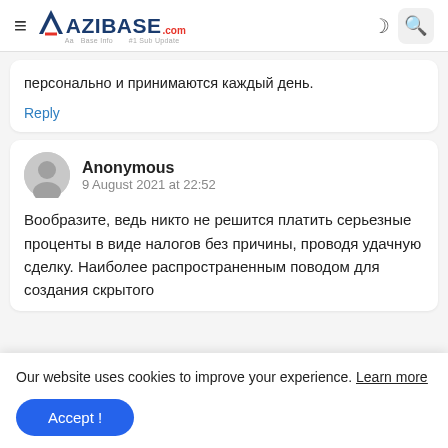AZIBASE.com
персонально и принимаются каждый день.
Reply
Anonymous
9 August 2021 at 22:52
Вообразите, ведь никто не решится платить серьезные проценты в виде налогов без причины, проводя удачную сделку. Наиболее распространенным поводом для создания скрытого
Our website uses cookies to improve your experience. Learn more
Accept !